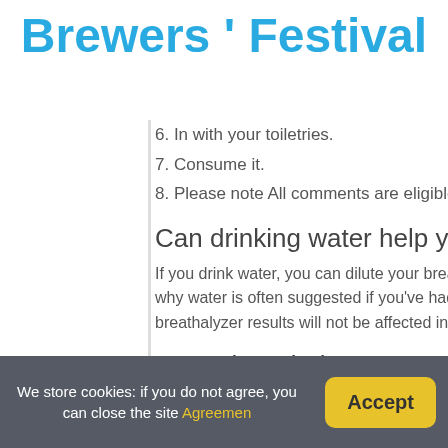Brewers ' Festival
6. In with your toiletries.
7. Consume it.
8. Please note All comments are eligible for publication
Can drinking water help you pass a breat
If you drink water, you can dilute your breath sample. Yo why water is often suggested if you've had a bit too m breathalyzer results will not be affected in the slightest.
Can a breathalyzer detect 1 beer?
Generally, a breathalyzer test can test positive for alcho average urine test can also detect alcohol 12-48 hours metabolize the alcohol completely before you can beco
We store cookies: if you do not agree, you can close the site Agreemen